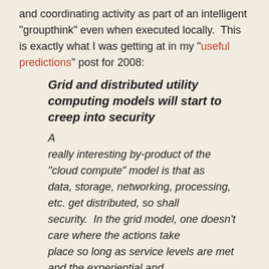and coordinating activity as part of an intelligent "groupthink" even when executed locally.  This is exactly what I was getting at in my "useful predictions" post for 2008:
Grid and distributed utility computing models will start to creep into security
A really interesting by-product of the "cloud compute" model is that as data, storage, networking, processing, etc. get distributed, so shall security.  In the grid model, one doesn't care where the actions take place so long as service levels are met and the experiential and business requirements are delivered.  Security should be thought of in